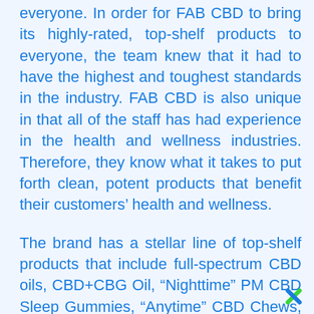everyone. In order for FAB CBD to bring its highly-rated, top-shelf products to everyone, the team knew that it had to have the highest and toughest standards in the industry. FAB CBD is also unique in that all of the staff has had experience in the health and wellness industries. Therefore, they know what it takes to put forth clean, potent products that benefit their customers' health and wellness.
The brand has a stellar line of top-shelf products that include full-spectrum CBD oils, CBD+CBG Oil, “Nighttime” PM CBD Sleep Gummies, “Anytime” CBD Chews, Topical CBD Body Salve, CBD Topical Cream, a line of non-CBD Vegan Green Superfoods, and even Calm & Cool Crunchy CBD Dog Treats. FAB CBD sources all of its organic hemp from Colorado